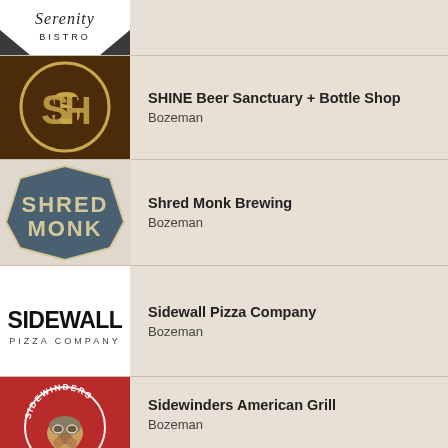[Figure (logo): Serenity Bistro logo - cursive script with bistro text, black and white]
[Figure (logo): SHINE Beer Sanctuary + Bottle Shop logo - gold S/H monogram in circle on dark brown background]
SHINE Beer Sanctuary + Bottle Shop
Bozeman
[Figure (logo): Shred Monk Brewing logo - distressed vintage circular badge with SHRED MONK text in teal/grey]
Shred Monk Brewing
Bozeman
[Figure (logo): Sidewall Pizza Company logo - bold black SIDEWALL text with PIZZA COMPANY below on white background]
Sidewall Pizza Company
Bozeman
[Figure (logo): Sidewinders American Grill logo - circular red badge with bulldog mascot wearing aviator helmet]
Sidewinders American Grill
Bozeman